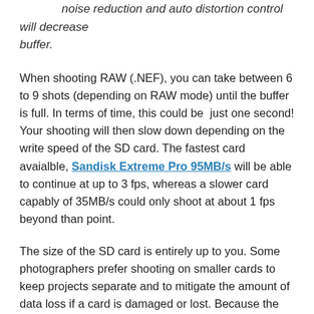noise reduction and auto distortion control will decrease buffer.
When shooting RAW (.NEF), you can take between 6 to 9 shots (depending on RAW mode) until the buffer is full. In terms of time, this could be just one second! Your shooting will then slow down depending on the write speed of the SD card. The fastest card avaialble, Sandisk Extreme Pro 95MB/s will be able to continue at up to 3 fps, whereas a slower card capably of 35MB/s could only shoot at about 1 fps beyond than point.
The size of the SD card is entirely up to you. Some photographers prefer shooting on smaller cards to keep projects separate and to mitigate the amount of data loss if a card is damaged or lost. Because the D7100 has two slots, you can back up your images automatically. If you set the D7100 to automatically write to both card slots, use a high speed card in both slots because the slowest card will be the